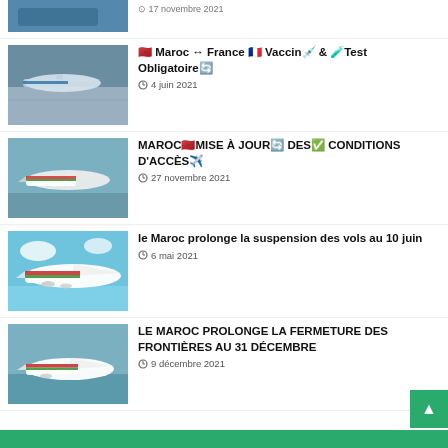[Figure (photo): Partial view of an Air France airplane on tarmac, blue and grey tones]
17 novembre 2021
[Figure (photo): Air France airplane on airport tarmac]
🇲🇦 Maroc ↔ France 🇫🇷 Vaccin 💉 & 🧪 Test Obligatoire 🔄
4 juin 2021
[Figure (photo): Royal Air Maroc airplane taking off]
MAROC 🇲🇦 MISE À JOUR 🔄 DES ✅ CONDITIONS D'ACCÈS ✈️
27 novembre 2021
[Figure (photo): Royal Air Maroc large airplane in flight against blue sky]
le Maroc prolonge la suspension des vols au 10 juin
6 mai 2021
[Figure (photo): Royal Air Maroc airplane taking off]
LE MAROC PROLONGE LA FERMETURE DES FRONTIÈRES AU 31 DÉCEMBRE
9 décembre 2021